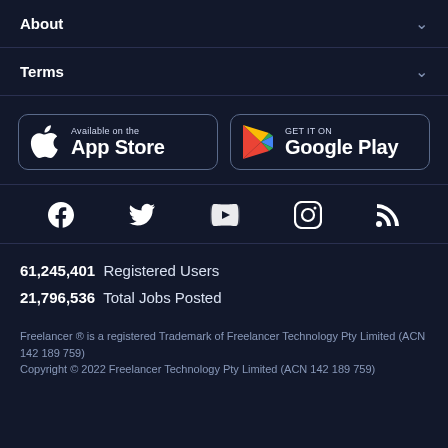About
Terms
[Figure (illustration): App Store and Google Play download badges side by side]
[Figure (illustration): Social media icons row: Facebook, Twitter, YouTube, Instagram, RSS]
61,245,401  Registered Users
21,796,536  Total Jobs Posted
Freelancer ® is a registered Trademark of Freelancer Technology Pty Limited (ACN 142 189 759)
Copyright © 2022 Freelancer Technology Pty Limited (ACN 142 189 759)